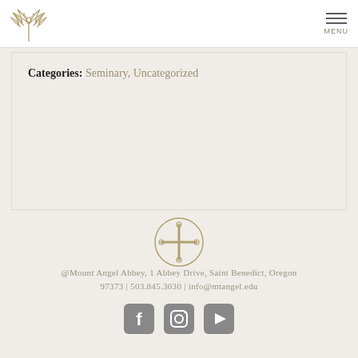[Figure (logo): Mount Angel Abbey dragonfly/cross logo in gold/tan color]
MENU
Categories: Seminary, Uncategorized
[Figure (illustration): Circular cross/compass icon in gold outline]
@Mount Angel Abbey, 1 Abbey Drive, Saint Benedict, Oregon 97373 | 503.845.3030 | info@mtangel.edu
[Figure (other): Social media icons: Facebook, Instagram, YouTube]